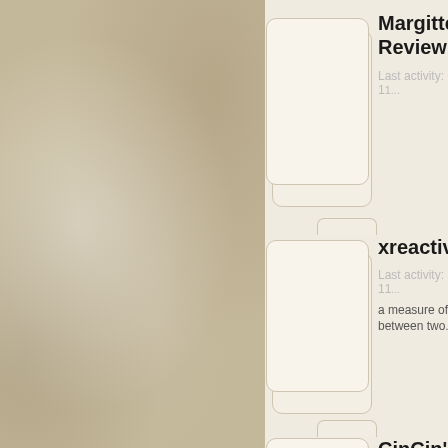[Figure (screenshot): Left half of page showing a textured beige/brown mottled background, like aged paper or stone]
Margitte Review
Last activity: 1...
xreactiv...
Last activity: 11...
a measure of... between two...
CinCin's Books
Last activity: 2...